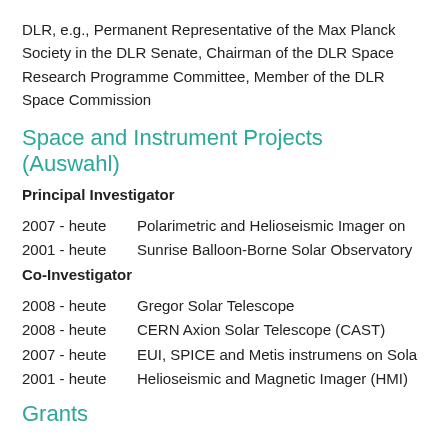DLR, e.g., Permanent Representative of the Max Planck Society in the DLR Senate, Chairman of the DLR Space Research Programme Committee, Member of the DLR Space Commission
Space and Instrument Projects (Auswahl)
Principal Investigator
2007 - heute    Polarimetric and Helioseismic Imager on
2001 - heute    Sunrise Balloon-Borne Solar Observatory
Co-Investigator
2008 - heute    Gregor Solar Telescope
2008 - heute    CERN Axion Solar Telescope (CAST)
2007 - heute    EUI, SPICE and Metis instrumens on Sola
2001 - heute    Helioseismic and Magnetic Imager (HMI)
Grants